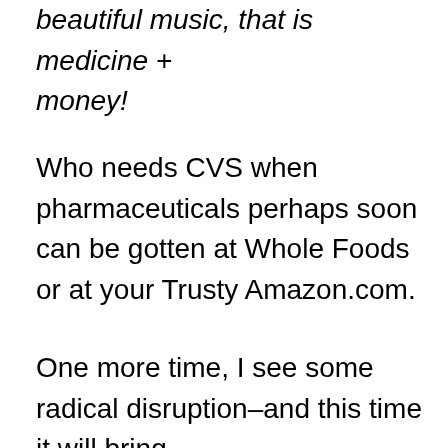beautiful music, that is medicine + money!
Who needs CVS when pharmaceuticals perhaps soon can be gotten at Whole Foods or at your Trusty Amazon.com.
One more time, I see some radical disruption–and this time it will bring